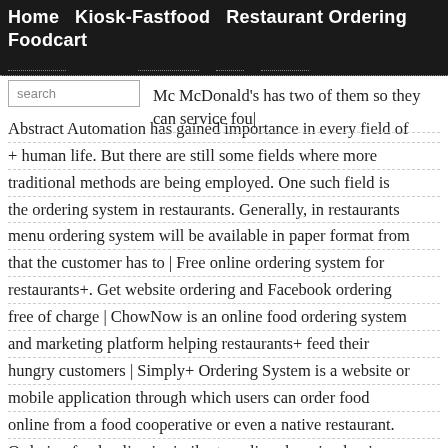Home  Kiosk-Fastfood  Restaurant Ordering  Foodcart
navigation row (partially visible, dotted underlines)
Mc McDonald's has two of them so they can service fou| Abstract Automation has gained importance in every field of human life. But there are still some fields where more traditional methods are being employed. One such field is the ordering system in restaurants. Generally, in restaurants menu ordering system will be available in paper format from that the customer has to | Free online ordering system for restaurants+. Get website ordering and Facebook ordering free of charge | ChowNow is an online food ordering system and marketing platform helping restaurants+ feed their hungry customers | Simply+ Ordering System is a website or mobile application through which users can order food online from a food cooperative or even a native restaurant. Ordering food online is similar to online shopping buying goods online. Book your Free Demo now and know more! So,